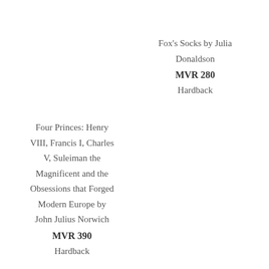Fox's Socks by Julia Donaldson
MVR 280
Hardback
Four Princes: Henry VIII, Francis I, Charles V, Suleiman the Magnificent and the Obsessions that Forged Modern Europe by John Julius Norwich
MVR 390
Hardback